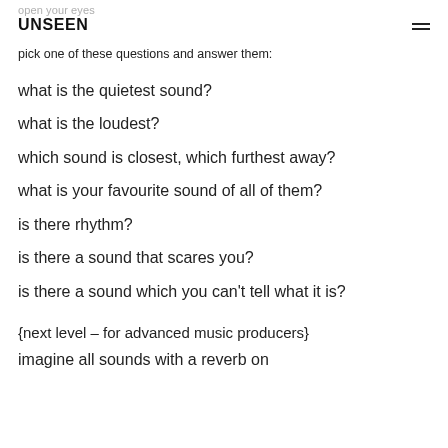open your eyes
UNSEEN
pick one of these questions and answer them:
what is the quietest sound?
what is the loudest?
which sound is closest, which furthest away?
what is your favourite sound of all of them?
is there rhythm?
is there a sound that scares you?
is there a sound which you can't tell what it is?
{next level – for advanced music producers}
imagine all sounds with a reverb on